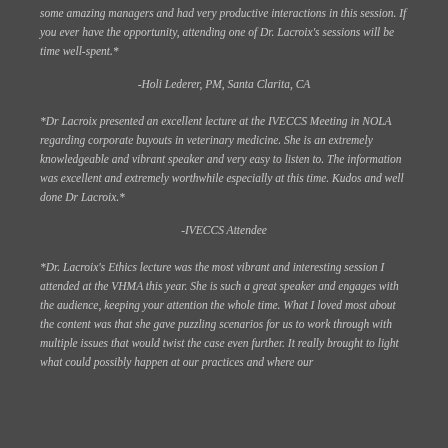some amazing managers and had very productive interactions in this session. If you ever have the opportunity, attending one of Dr. Lacroix's sessions will be time well-spent.*
-Holi Lederer, PM, Santa Clarita, CA
*Dr Lacroix presented an excellent lecture at the IVECCS Meeting in NOLA regarding corporate buyouts in veterinary medicine. She is an extremely knowledgeable and vibrant speaker and very easy to listen to. The information was excellent and extremely worthwhile especially at this time. Kudos and well done Dr Lacroix.*
-IVECCS Attendee
*Dr. Lacroix's Ethics lecture was the most vibrant and interesting session I attended at the VHMA this year. She is such a great speaker and engages with the audience, keeping your attention the whole time. What I loved most about the content was that she gave puzzling scenarios for us to work through with multiple issues that would twist the case even further. It really brought to light what could possibly happen at our practices and where our